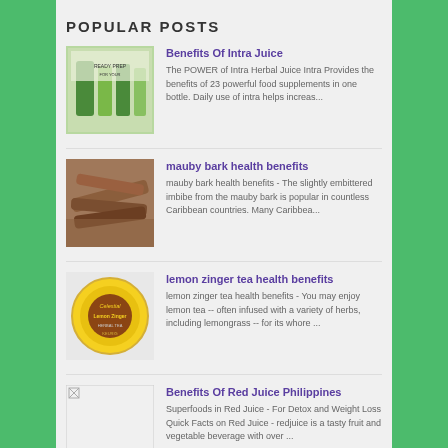POPULAR POSTS
Benefits Of Intra Juice
The POWER of Intra Herbal Juice Intra Provides the benefits of 23 powerful food supplements in one bottle. Daily use of intra helps increas...
mauby bark health benefits
mauby bark health benefits - The slightly embittered imbibe from the mauby bark is popular in countless Caribbean countries. Many Caribbea...
lemon zinger tea health benefits
lemon zinger tea health benefits - You may enjoy lemon tea -- often infused with a variety of herbs, including lemongrass -- for its whore ...
Benefits Of Red Juice Philippines
Superfoods in Red Juice - For Detox and Weight Loss Quick Facts on Red Juice - redjuice is a tasty fruit and vegetable beverage with over ...
Benefits Of Vimto Juice
Vimto is a soft drink sold in the United Kingdom.It was first manufactured as a health tonic in cordial form, then decades later